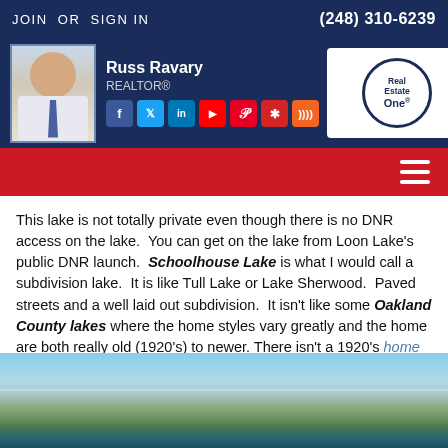JOIN OR SIGN IN | (248) 310-6239
[Figure (screenshot): Realtor profile header with photo of Russ Ravary, name, REALTOR® title, social media icons (Facebook, Twitter, LinkedIn, YouTube, Pinterest, Yelp, RSS), and Real Estate One logo]
[Figure (infographic): Red navigation bar with hamburger menu icon]
This lake is not totally private even though there is no DNR access on the lake. You can get on the lake from Loon Lake's public DNR launch. Schoolhouse Lake is what I would call a subdivision lake. It is like Tull Lake or Lake Sherwood. Paved streets and a well laid out subdivision. It isn't like some Oakland County lakes where the home styles vary greatly and the home are both really old (1920's) to newer. There isn't a 1920's home on Schoolhouse Lake that I know of.
[Figure (photo): Aerial or elevated photo of a lakeside landscape with sky, tree canopy, and water visible at the bottom edge]